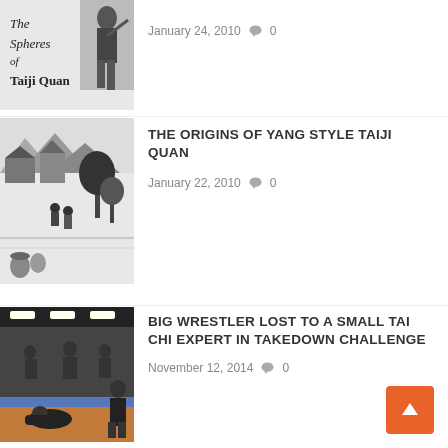[Figure (photo): Partial view of book cover: 'The Spheres of Taiji Quan' with a black and white photo of a person]
January 24, 2010  0
[Figure (illustration): Black and white ink drawing of a traditional Chinese village scene with people]
THE ORIGINS OF YANG STYLE TAIJI QUAN
January 22, 2010  0
[Figure (photo): Photo of a martial arts gym/dojo with a person being taken down]
BIG WRESTLER LOST TO A SMALL TAI CHI EXPERT IN TAKEDOWN CHALLENGE
November 12, 2014  0